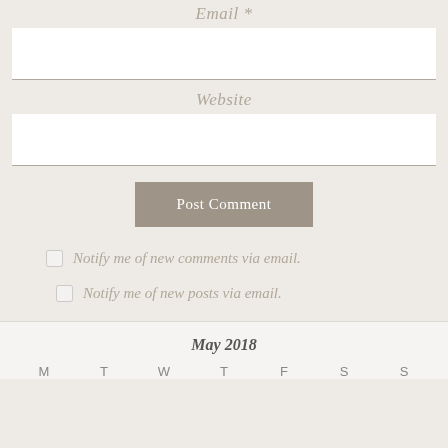Email *
Website
Post Comment
Notify me of new comments via email.
Notify me of new posts via email.
May 2018
| M | T | W | T | F | S | S |
| --- | --- | --- | --- | --- | --- | --- |